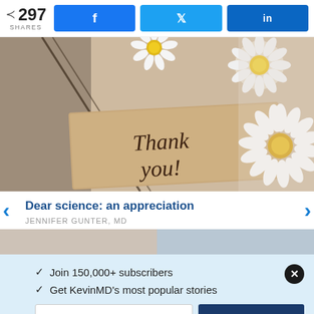297 SHARES
[Figure (photo): A 'Thank you' handwritten note card surrounded by white daisy flowers with yellow centers on a light background]
Dear science: an appreciation
JENNIFER GUNTER, MD
✓ Join 150,000+ subscribers
✓ Get KevinMD's most popular stories
Email
Subscribe. It's free.